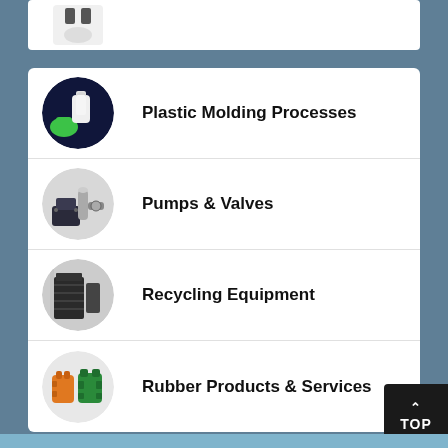[Figure (other): Partial top card showing a white electrical plug/connector image, cut off at top of page]
Plastic Molding Processes
Pumps & Valves
Recycling Equipment
Rubber Products & Services